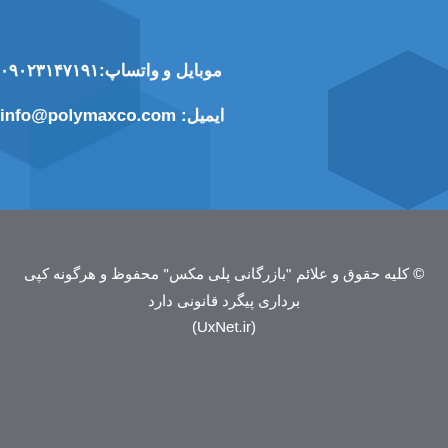موبایل و واتساپ:۰۹۰۲۳۱۴۷۱۹۱
ایمیل: info@polymaxco.com
© کلیه حقوق و علائم "بازرگانی پلی مکس" محفوظ و هرگونه کپی برداری پیگرد قانونی دارد
(UxNet.ir)